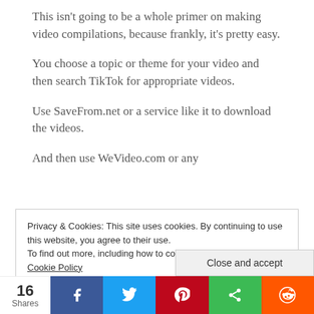This isn't going to be a whole primer on making video compilations, because frankly, it's pretty easy.
You choose a topic or theme for your video and then search TikTok for appropriate videos.
Use SaveFrom.net or a service like it to download the videos.
And then use WeVideo.com or any
Privacy & Cookies: This site uses cookies. By continuing to use this website, you agree to their use.
To find out more, including how to control cookies, see here: Cookie Policy
Close and accept
16
Shares